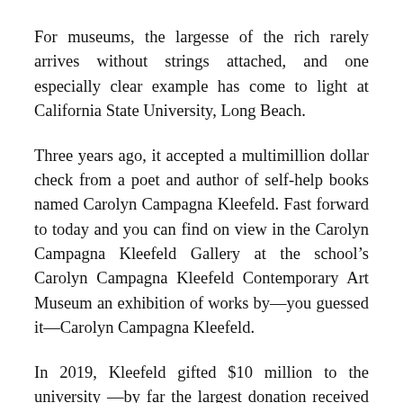For museums, the largesse of the rich rarely arrives without strings attached, and one especially clear example has come to light at California State University, Long Beach.
Three years ago, it accepted a multimillion dollar check from a poet and author of self-help books named Carolyn Campagna Kleefeld. Fast forward to today and you can find on view in the Carolyn Campagna Kleefeld Gallery at the school’s Carolyn Campagna Kleefeld Contemporary Art Museum an exhibition of works by—you guessed it—Carolyn Campagna Kleefeld.
In 2019, Kleefeld gifted $10 million to the university —by far the largest donation received during the school’s $24 million fundraising campaign to expand the University Art Museum. And the